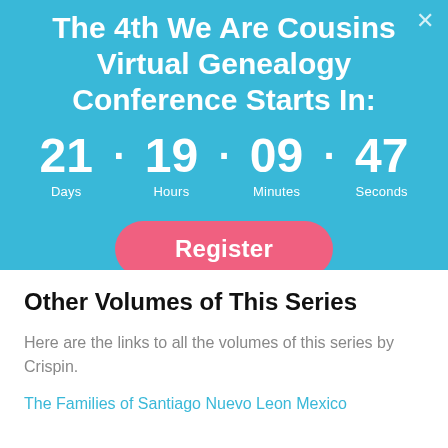[Figure (screenshot): Countdown banner for 'The 4th We Are Cousins Virtual Genealogy Conference Starts In:' with timer showing 21 Days · 19 Hours · 09 Minutes · 47 Seconds and a pink Register button on a blue background]
Other Volumes of This Series
Here are the links to all the volumes of this series by Crispin.
The Families of Santiago Nuevo Leon Mexico